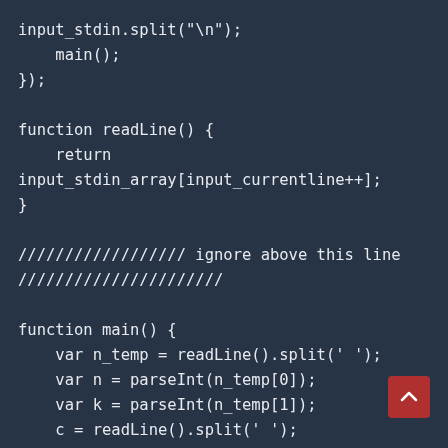input_stdin.split("\n");
    main();
});

function readLine() {
    return
input_stdin_array[input_currentline++];
}

////////////////// ignore above this line
//////////////////////

function main() {
    var n_temp = readLine().split(' ');
    var n = parseInt(n_temp[0]);
    var k = parseInt(n_temp[1]);
    c = readLine().split(' ');
    c = c.map(Number);